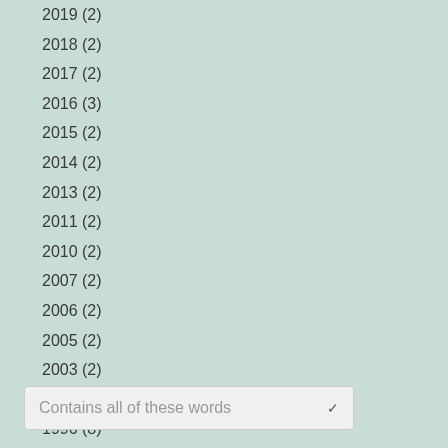2019 (2)
2018 (2)
2017 (2)
2016 (3)
2015 (2)
2014 (2)
2013 (2)
2011 (2)
2010 (2)
2007 (2)
2006 (2)
2005 (2)
2003 (2)
2000 (2)
1996 (8)
Contains all of these words